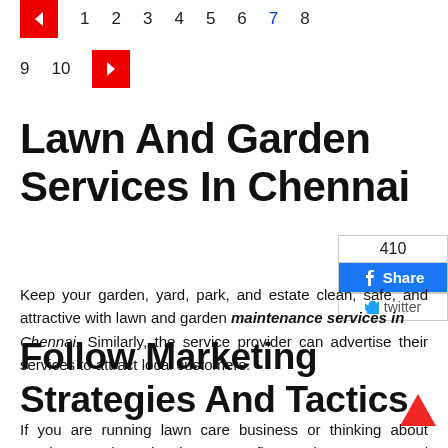« 1 2 3 4 5 6 7 8
9 10 »
Lawn And Garden Services In Chennai
Keep your garden, yard, park, and estate clean, safe, and attractive with lawn and garden maintenance services in Chennai. Similarly, the service provider can advertise their services to attract local customers.
Follow Marketing Strategies And Tactics
If you are running lawn care business or thinking about starting one then planning comes first. And we recommend some strategies and tactics.